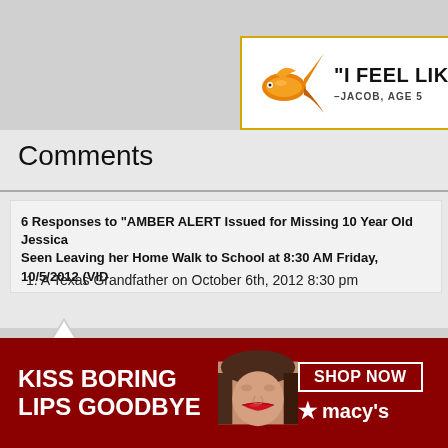[Figure (screenshot): Advertisement banner with goldfish graphic and text: "I FEEL LIKE A FISH" -JACOB, AGE 5]
Comments
6 Responses to “AMBER ALERT Issued for Missing 10 Year Old Jessica Seen Leaving her Home Walk to School at 8:30 AM Friday, 10/5/2012 (VID
1. A Texas Grandfather on October 6th, 2012 8:30 pm
I wonder if they have searched the reservoir located about a half mile So elementary school North of the reservoir.

106th street is a major artery and it is very nearby. Remember the Dugga abducted at the end of her driveway and driven over the mountain to the
[Figure (screenshot): Macy's advertisement: KISS BORING LIPS GOODBYE - SHOP NOW - macy's, with woman's face showing red lips]